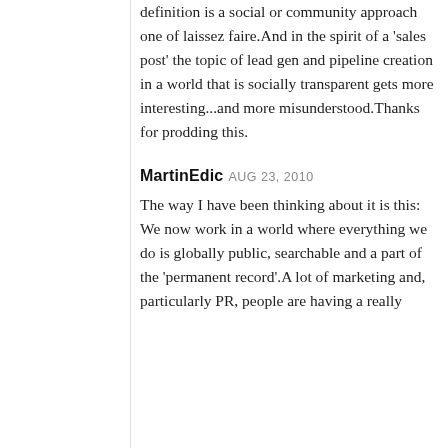definition is a social or community approach one of laissez faire.And in the spirit of a 'sales post' the topic of lead gen and pipeline creation in a world that is socially transparent gets more interesting...and more misunderstood.Thanks for prodding this.
MartinEdic AUG 23, 2010
The way I have been thinking about it is this: We now work in a world where everything we do is globally public, searchable and a part of the 'permanent record'.A lot of marketing and, particularly PR, people are having a really